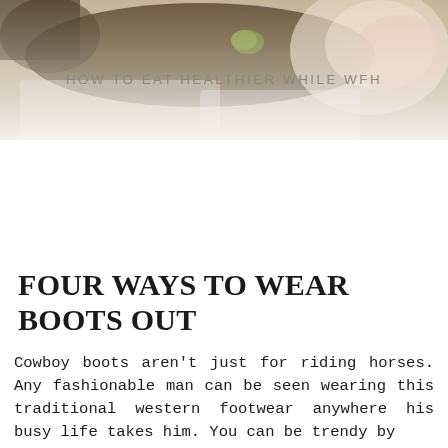[Figure (photo): Photo of food items including what appears to be bread or cake with olives and other items on a light background, partially faded at the bottom with text overlay]
HOW TO EAT HEALTHIER WHILE WFH
FOUR WAYS TO WEAR BOOTS OUT
Cowboy boots aren't just for riding horses. Any fashionable man can be seen wearing this traditional western footwear anywhere his busy life takes him. You can be trendy by